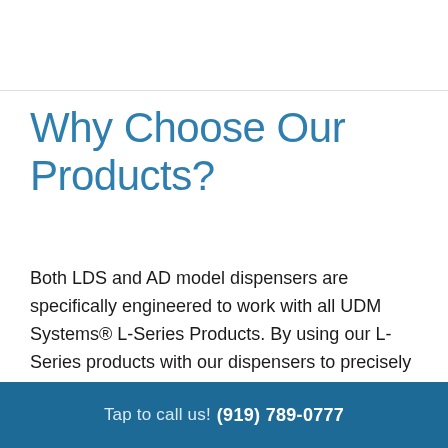Why Choose Our Products?
Both LDS and AD model dispensers are specifically engineered to work with all UDM Systems® L-Series Products. By using our L-Series products with our dispensers to precisely inject the proper amount of
Tap to call us!  (919) 789-0777